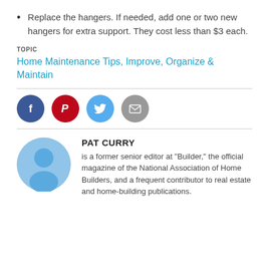Replace the hangers. If needed, add one or two new hangers for extra support. They cost less than $3 each.
TOPIC
Home Maintenance Tips, Improve, Organize & Maintain
[Figure (infographic): Row of four social media share icons: Facebook (dark blue circle with f), Pinterest (red circle with P), Twitter (light blue circle with bird), Email (gray circle with envelope)]
PAT CURRY
is a former senior editor at "Builder," the official magazine of the National Association of Home Builders, and a frequent contributor to real estate and home-building publications.